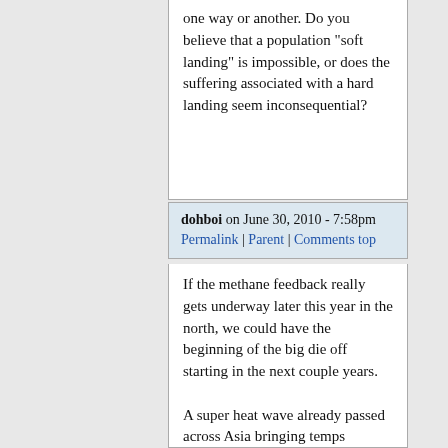one way or another. Do you believe that a population "soft landing" is impossible, or does the suffering associated with a hard landing seem inconsequential?
dohboi on June 30, 2010 - 7:58pm Permalink | Parent | Comments top
If the methane feedback really gets underway later this year in the north, we could have the beginning of the big die off starting in the next couple years.

A super heat wave already passed across Asia bringing temps